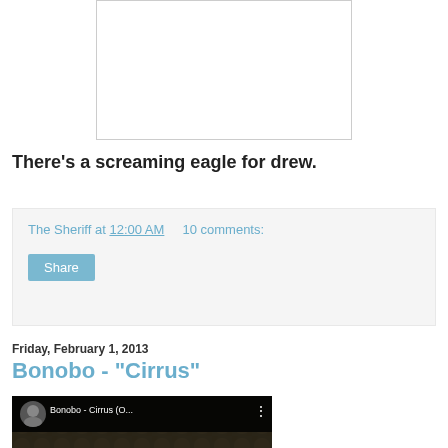[Figure (other): Blank white image placeholder with light gray border]
There's a screaming eagle for drew.
The Sheriff at 12:00 AM   10 comments:
Share
Friday, February 1, 2013
Bonobo - "Cirrus"
[Figure (screenshot): YouTube video thumbnail for Bonobo - Cirrus (O...) with red play button and dark mushroom-patterned background]